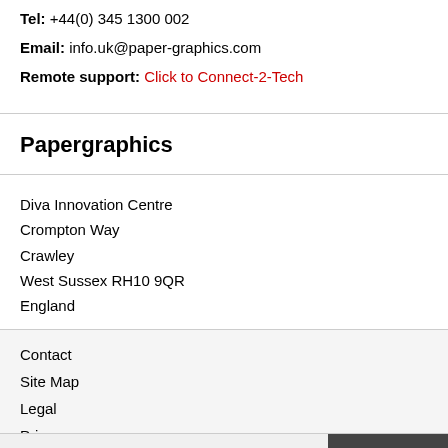Tel: +44(0) 345 1300 002
Email: info.uk@paper-graphics.com
Remote support: Click to Connect-2-Tech
Papergraphics
Diva Innovation Centre
Crompton Way
Crawley
West Sussex RH10 9QR
England
Contact
Site Map
Legal
Privacy
Cookies